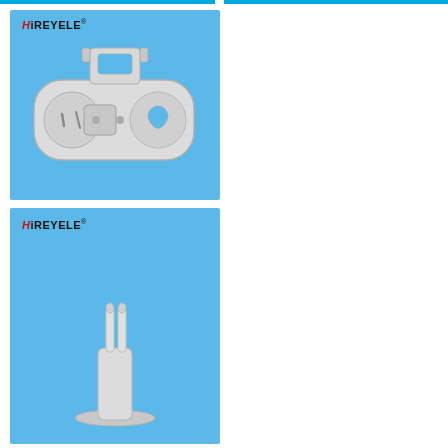[Figure (photo): Product photo of a white plastic T8 fluorescent lamp holder/socket with HREYELE logo, shown on blue background, top-down view showing connector slots and mounting bracket]
[Figure (photo): Product photo of a white plastic lamp socket component with HREYELE logo, shown on blue background, partial view from bottom]